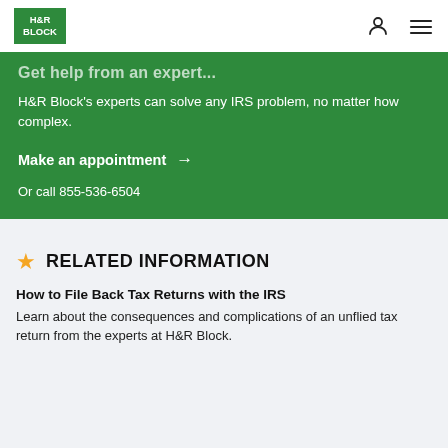H&R Block navigation bar with logo, user icon, and menu icon
H&R Block's experts can solve any IRS problem, no matter how complex.
Make an appointment →
Or call 855-536-6504
RELATED INFORMATION
How to File Back Tax Returns with the IRS
Learn about the consequences and complications of an unflied tax return from the experts at H&R Block.